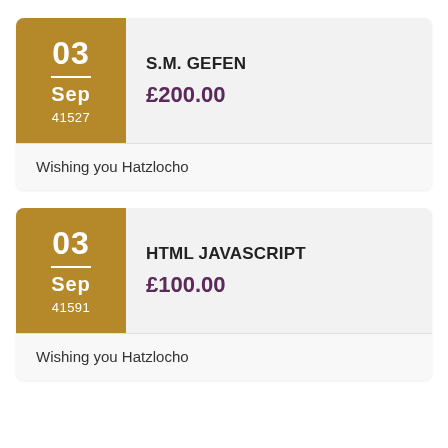03 Sep 41527 | S.M. GEFEN | £200.00 | Wishing you Hatzlocho
03 Sep 41591 | HTML JAVASCRIPT | £100.00 | Wishing you Hatzlocho